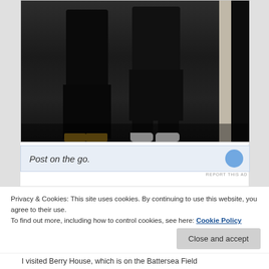[Figure (photo): Two people standing in a dark hallway or room, cropped from shoulders/hands down. One person on the left wearing black pants with sandals, one on the right wearing black capri pants with white sneakers. A dark vertical structural element is visible on the right side.]
Post on the go.
REPORT THIS AD
Privacy & Cookies: This site uses cookies. By continuing to use this website, you agree to their use.
To find out more, including how to control cookies, see here: Cookie Policy
Close and accept
I visited Berry House, which is on the Battersea Field